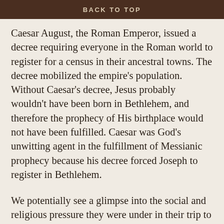BACK TO TOP
Caesar August, the Roman Emperor, issued a decree requiring everyone in the Roman world to register for a census in their ancestral towns. The decree mobilized the empire’s population. Without Caesar’s decree, Jesus probably wouldn’t have been born in Bethlehem, and therefore the prophecy of His birthplace would not have been fulfilled. Caesar was God’s unwitting agent in the fulfillment of Messianic prophecy because his decree forced Joseph to register in Bethlehem.
We potentially see a glimpse into the social and religious pressure they were under in their trip to Bethlehem. Joseph didn’t need to take Mary with him to be registered for the census, but he probably did so to protect her from gossip and emotional stress, or maybe they wanted to be together when the baby was born, or maybe they didn’t want to be away from